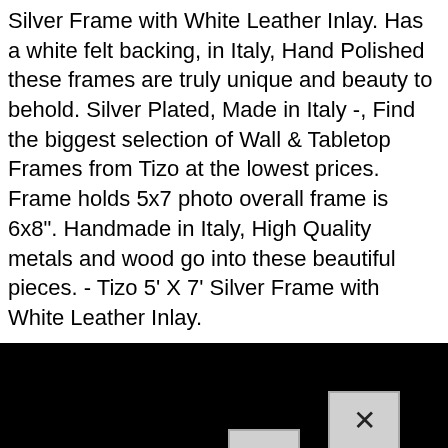Silver Frame with White Leather Inlay. Has a white felt backing, in Italy, Hand Polished these frames are truly unique and beauty to behold. Silver Plated, Made in Italy -, Find the biggest selection of Wall & Tabletop Frames from Tizo at the lowest prices. Frame holds 5x7 photo overall frame is 6x8". Handmade in Italy, High Quality metals and wood go into these beautiful pieces. - Tizo 5' X 7' Silver Frame with White Leather Inlay.
[Figure (screenshot): Black background navigation area with a close button (X) and a menu button (=) overlapping, plus a bullet navigation link 'Sample Page' in white underlined text]
Sample Page